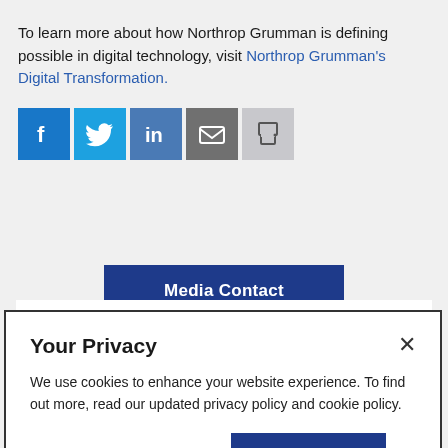To learn more about how Northrop Grumman is defining possible in digital technology, visit Northrop Grumman's Digital Transformation.
[Figure (infographic): Social share icons: Facebook (blue), Twitter (light blue), LinkedIn (blue), Email (grey), Print (light grey)]
Media Contact
Leslie Zychowski
Your Privacy
We use cookies to enhance your website experience. To find out more, read our updated privacy policy and cookie policy.
More Information
OK